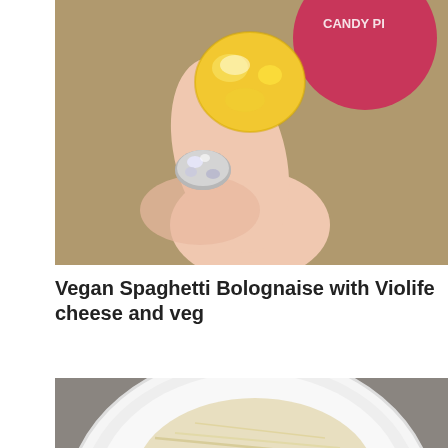[Figure (photo): A hand with silver glitter nail polish holding a yellow sugar-coated candy gummy against a brown paper bag background with a red circular logo partially visible at top right.]
Vegan Spaghetti Bolognaise with Violife cheese and veg
[Figure (photo): A white plate of vegan spaghetti bolognaise topped with grated Violife vegan cheese, chunky tomato and vegetable sauce, served on what appears to be a grey surface.]